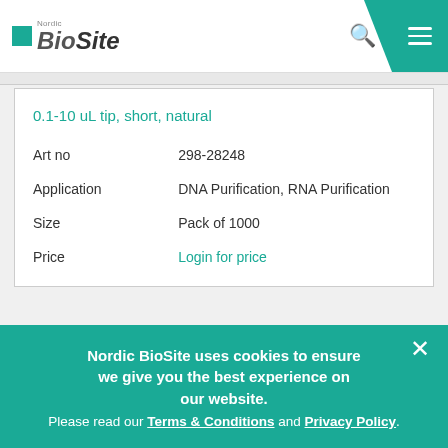[Figure (logo): Nordic BioSite logo with teal square icon and italic text, search icon and teal hamburger menu button in header]
0.1-10 uL tip, short, natural
| Art no | 298-28248 |
| Application | DNA Purification, RNA Purification |
| Size | Pack of 1000 |
| Price | Login for price |
Nordic BioSite uses cookies to ensure we give you the best experience on our website. Please read our Terms & Conditions and Privacy Policy.